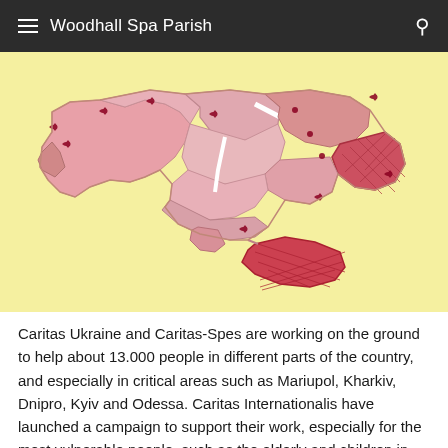Woodhall Spa Parish
[Figure (map): A map of Ukraine showing regions shaded in varying shades of pink and red to indicate areas of Caritas humanitarian activity. Darker red areas indicate conflict zones including eastern regions (Donbas) and Crimea in the south. Red cross symbols mark Caritas presence locations across multiple regions. The map background is yellow/cream.]
Caritas Ukraine and Caritas-Spes are working on the ground to help about 13.000 people in different parts of the country, and especially in critical areas such as Mariupol, Kharkiv, Dnipro, Kyiv and Odessa. Caritas Internationalis have launched a campaign to support their work, especially for the most vulnerable people, such as the elderly and children in the conflict zones.